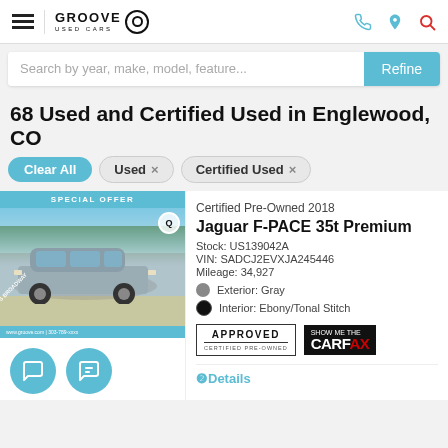GROOVE USED CARS
Search by year, make, model, feature...
68 Used and Certified Used in Englewood, CO
Clear All
Used ×
Certified Used ×
[Figure (photo): Gray Jaguar F-PACE SUV parked in a dealership lot with SPECIAL OFFER banner and address overlay]
Certified Pre-Owned 2018
Jaguar F-PACE 35t Premium
Stock: US139042A
VIN: SADCJ2EVXJA245446
Mileage: 34,927
Exterior: Gray
Interior: Ebony/Tonal Stitch
[Figure (logo): APPROVED CERTIFIED PRE-OWNED badge and SHOW ME THE CARFAX logo]
❷Details